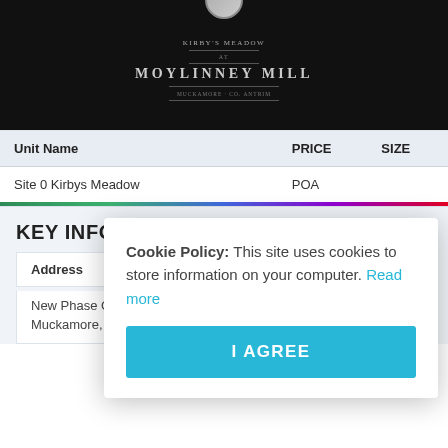[Figure (logo): Kirby's Meadow at Moylinney Mill logo on black background]
| Unit Name | PRICE | SIZE |
| --- | --- | --- |
| Site 0 Kirbys Meadow | POA |  |
KEY INFO
| Address |  |
| --- | --- |
| New Phase Coming Soon, Kirby's Meadow At Moylinney Mill, Muckamore, Antrim |  |
Cookie Policy: This site uses cookies to store information on your computer. Read more
I AGREE